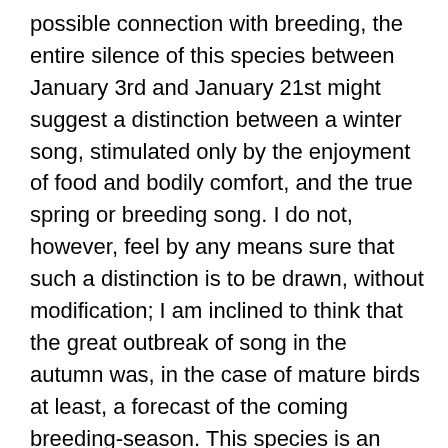possible connection with breeding, the entire silence of this species between January 3rd and January 21st might suggest a distinction between a winter song, stimulated only by the enjoyment of food and bodily comfort, and the true spring or breeding song. I do not, however, feel by any means sure that such a distinction is to be drawn, without modification; I am inclined to think that the great outbreak of song in the autumn was, in the case of mature birds at least, a forecast of the coming breeding-season. This species is an early breeder, and eggs have been found as early as February 28th[2]: and the silence in January might have been accidental, or have occurred at another time, according to the weather, just as it may also sometimes be noticed in April or May. Birds that have already lived through one or more breeding-seasons must, I should imagine, have come to associate the full vocal powers they have acquired with the joys and duties of that